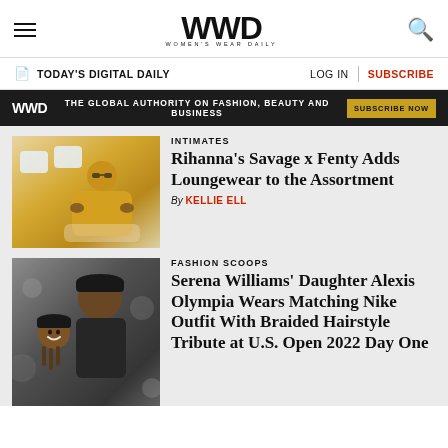WWD WOMEN'S WEAR DAILY
TODAY'S DIGITAL DAILY   LOG IN   SUBSCRIBE
WWD THE GLOBAL AUTHORITY ON FASHION, BEAUTY AND BUSINESS SUBSCRIBE NOW
INTIMATES
Rihanna's Savage x Fenty Adds Loungewear to the Assortment
By KELLIE ELL
[Figure (photo): Person wearing yellow outfit on a plane]
FASHION SCOOPS
Serena Williams' Daughter Alexis Olympia Wears Matching Nike Outfit With Braided Hairstyle Tribute at U.S. Open 2022 Day One
[Figure (photo): Child and man wearing black caps and black outfits]